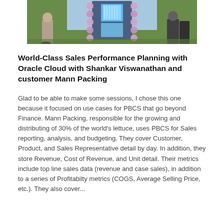[Figure (photo): Cropped photo showing people standing near a decorated display structure with blue lighting and purple/pink decorative orbs, outdoors on grass.]
World-Class Sales Performance Planning with Oracle Cloud with Shankar Viswanathan and customer Mann Packing
Glad to be able to make some sessions, I chose this one because it focused on use cases for PBCS that go beyond Finance. Mann Packing, responsible for the growing and distributing of 30% of the world's lettuce, uses PBCS for Sales reporting, analysis, and budgeting. They cover Customer, Product, and Sales Representative detail by day. In addition, they store Revenue, Cost of Revenue, and Unit detail. Their metrics include top line sales data (revenue and case sales), in addition to a series of Profitabilty metrics (COGS, Average Selling Price, etc.). They also cover...